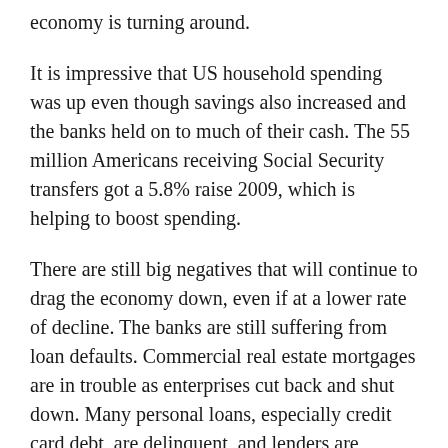economy is turning around.
It is impressive that US household spending was up even though savings also increased and the banks held on to much of their cash. The 55 million Americans receiving Social Security transfers got a 5.8% raise 2009, which is helping to boost spending.
There are still big negatives that will continue to drag the economy down, even if at a lower rate of decline. The banks are still suffering from loan defaults. Commercial real estate mortgages are in trouble as enterprises cut back and shut down. Many personal loans, especially credit card debt, are delinquent, and lenders are making up for this by raising fees. The federal rescues and bailouts will provide relief, but at the cost of making